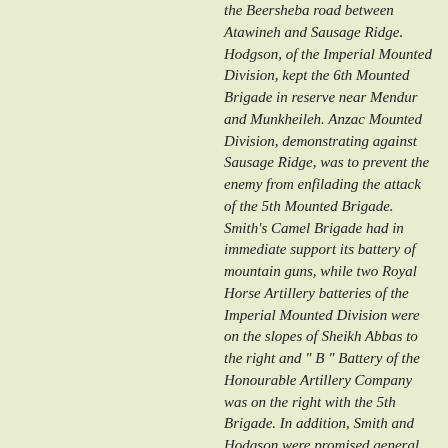the Beersheba road between Atawineh and Sausage Ridge. Hodgson, of the Imperial Mounted Division, kept the 6th Mounted Brigade in reserve near Mendur and Munkheileh. Anzac Mounted Division, demonstrating against Sausage Ridge, was to prevent the enemy from enfilading the attack of the 5th Mounted Brigade. Smith's Camel Brigade had in immediate support its battery of mountain guns, while two Royal Horse Artillery batteries of the Imperial Mounted Division were on the slopes of Sheikh Abbas to the right and " B " Battery of the Honourable Artillery Company was on the right with the 5th Brigade. In addition, Smith and Hodgson were promised general support from Dobell's main artillery force, much of which had its objectives within effective range. The bombardment of the positions